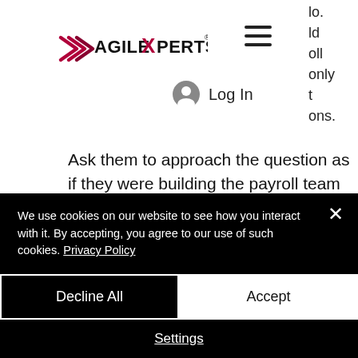[Figure (logo): AgileXperts logo with stylized X and chevron mark in red/dark red, company name in bold dark text]
[Figure (infographic): Hamburger menu icon (three horizontal lines)]
lo. ld oll only t ons.
[Figure (infographic): User account icon (person silhouette in gray circle)]
Log In
Ask them to approach the question as if they were building the payroll team and its systems from scratch. Would they set it up in the same way? If not, why not?
We use cookies on our website to see how you interact with it. By accepting, you agree to our use of such cookies. Privacy Policy
Decline All
Accept
Settings